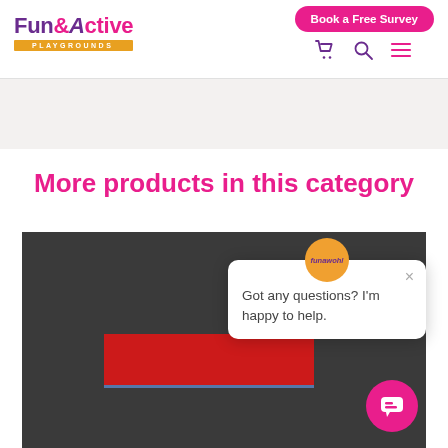[Figure (logo): Fun & Active Playgrounds logo with purple and pink text and orange underline bar]
Book a Free Survey
More products in this category
[Figure (screenshot): Dark gray product category image area with a red block visible at bottom center]
Got any questions? I'm happy to help.